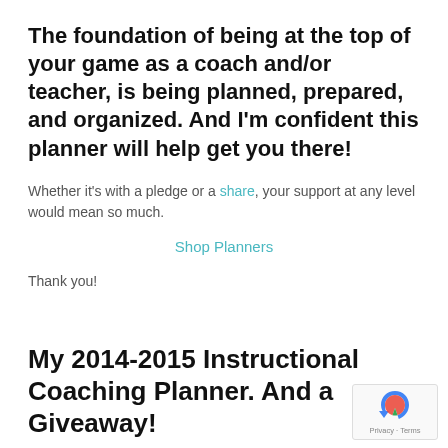The foundation of being at the top of your game as a coach and/or teacher, is being planned, prepared, and organized. And I'm confident this planner will help get you there!
Whether it's with a pledge or a share, your support at any level would mean so much.
Shop Planners
Thank you!
My 2014-2015 Instructional Coaching Planner. And a Giveaway!